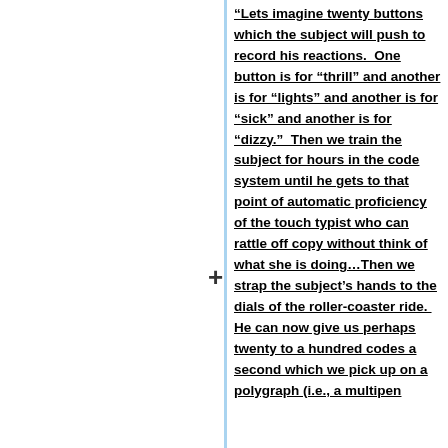“Lets imagine twenty buttons which the subject will push to record his reactions.  One button is for “thrill” and another is for “lights” and another is for “sick” and another is for “dizzy.”  Then we train the subject for hours in the code system until he gets to that point of automatic proficiency of the touch typist who can rattle off copy without think of what she is doing…Then we strap the subject’s hands to the dials of the roller-coaster ride.  He can now give us perhaps twenty to a hundred codes a second which we pick up on a polygraph (i.e., a multipen